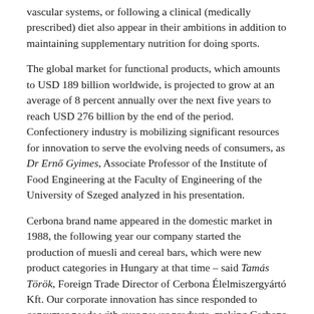vascular systems, or following a clinical (medically prescribed) diet also appear in their ambitions in addition to maintaining supplementary nutrition for doing sports.
The global market for functional products, which amounts to USD 189 billion worldwide, is projected to grow at an average of 8 percent annually over the next five years to reach USD 276 billion by the end of the period. Confectionery industry is mobilizing significant resources for innovation to serve the evolving needs of consumers, as Dr Ernő Gyimes, Associate Professor of the Institute of Food Engineering at the Faculty of Engineering of the University of Szeged analyzed in his presentation.
Cerbona brand name appeared in the domestic market in 1988, the following year our company started the production of muesli and cereal bars, which were new product categories in Hungary at that time – said Tamás Török, Foreign Trade Director of Cerbona Élelmiszergyártó Kft. Our corporate innovation has since responded to consumer needs with ever newer products, making Cerbona a market-leading brand in the categories of muesli, cereal bars, oat-flakes and puffed cereal bars too. Muesli, cereal bars and porridges rich in protein, fibre, vitamins and trace elements and are sugar-free, consumed before, during and after workouts being available in the